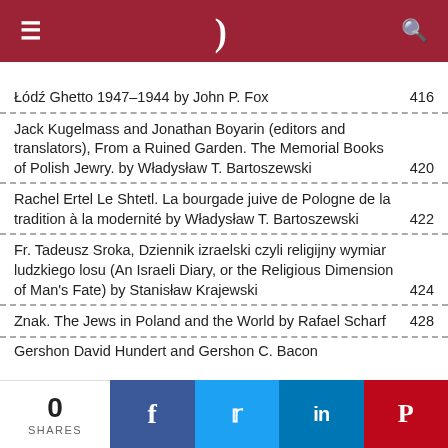≡  )  🔍
Łódź Ghetto 1947–1944 by John P. Fox ............ 416
Jack Kugelmass and Jonathan Boyarin (editors and translators), From a Ruined Garden. The Memorial Books of Polish Jewry. by Władysław T. Bartoszewski ............ 420
Rachel Ertel Le Shtetl. La bourgade juive de Pologne de la tradition à la modernité by Władysław T. Bartoszewski ............ 422
Fr. Tadeusz Sroka, Dziennik izraelski czyli religijny wymiar ludzkiego losu (An Israeli Diary, or the Religious Dimension of Man's Fate) by Stanisław Krajewski ............ 424
Znak. The Jews in Poland and the World by Rafael Scharf ............ 428
Gershon David Hundert and Gershon C. Bacon
0 SHARES  f  t  in  P